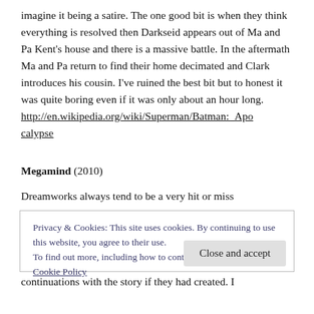imagine it being a satire. The one good bit is when they think everything is resolved then Darkseid appears out of Ma and Pa Kent's house and there is a massive battle. In the aftermath Ma and Pa return to find their home decimated and Clark introduces his cousin. I've ruined the best bit but to honest it was quite boring even if it was only about an hour long. http://en.wikipedia.org/wiki/Superman/Batman:_Apocalypse
Megamind (2010)
Dreamworks always tend to be a very hit or miss
Privacy & Cookies: This site uses cookies. By continuing to use this website, you agree to their use.
To find out more, including how to control cookies, see here: Cookie Policy
Close and accept
continuations with the story if they had created. I